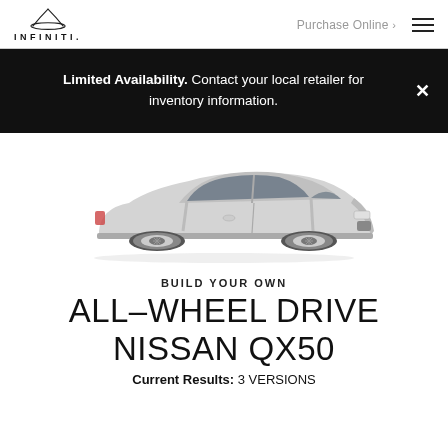INFINITI | Purchase Online >
Limited Availability. Contact your local retailer for inventory information.
[Figure (photo): Side profile of a silver INFINITI QX50 SUV on a white background]
BUILD YOUR OWN
ALL-WHEEL DRIVE NISSAN QX50
Current Results: 3 VERSIONS